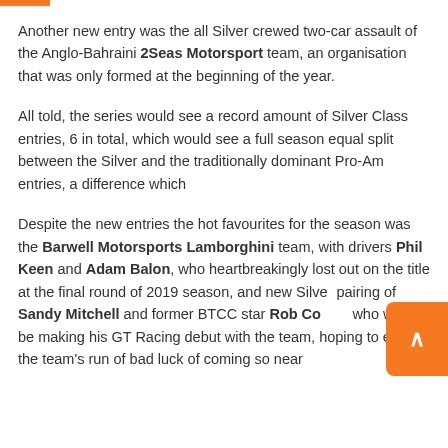Another new entry was the all Silver crewed two-car assault of the Anglo-Bahraini 2Seas Motorsport team, an organisation that was only formed at the beginning of the year.
All told, the series would see a record amount of Silver Class entries, 6 in total, which would see a full season equal split between the Silver and the traditionally dominant Pro-Am entries, a difference which
Despite the new entries the hot favourites for the season was the Barwell Motorsports Lamborghini team, with drivers Phil Keen and Adam Balon, who heartbreakingly lost out on the title at the final round of 2019 season, and new Silver pairing of Sandy Mitchell and former BTCC star Rob Collard who would be making his GT Racing debut with the team, hoping to end the team's run of bad luck of coming so near